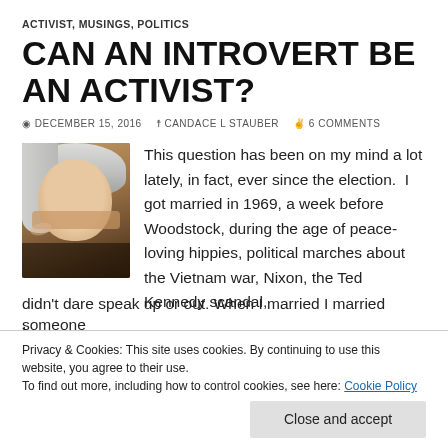ACTIVIST, MUSINGS, POLITICS
CAN AN INTROVERT BE AN ACTIVIST?
DECEMBER 15, 2016  CANDACE L STAUBER  6 COMMENTS
[Figure (photo): Portrait photo of a woman with white/silver hair, author Candace L Stauber]
This question has been on my mind a lot lately, in fact, ever since the election.  I got married in 1969, a week before Woodstock, during the age of peace-loving hippies, political marches about the Vietnam war, Nixon, the Ted Kennedy scandal,
didn't dare speak up or out. When I married I married someone
Privacy & Cookies: This site uses cookies. By continuing to use this website, you agree to their use.
To find out more, including how to control cookies, see here: Cookie Policy
Close and accept